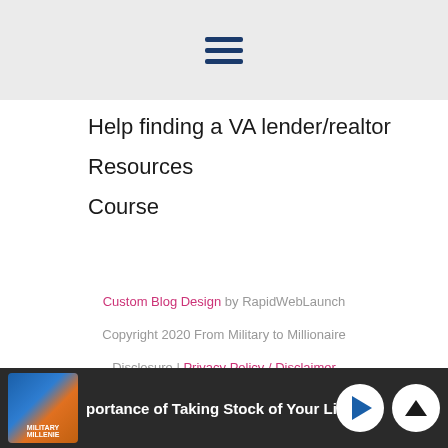[Figure (other): Hamburger menu icon with three horizontal blue bars on a light grey background]
Help finding a VA lender/realtor
Resources
Course
Custom Blog Design by RapidWebLaunch
Copyright 2020 From Military to Millionaire
Disclosure | Privacy Policy / Disclaimer
[Figure (other): Bottom podcast player bar with thumbnail image of a man, podcast title text 'portance of Taking Stock of Your Lif', play button, and chevron up button on dark background]